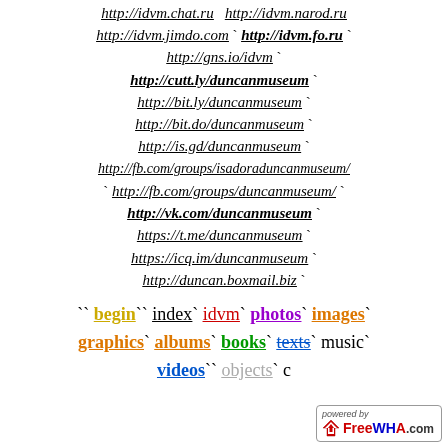http://idvm.chat.ru  http://idvm.narod.ru
http://idvm.jimdo.com ` http://idvm.fo.ru `
http://gns.io/idvm `
http://cutt.ly/duncanmuseum `
http://bit.ly/duncanmuseum `
http://bit.do/duncanmuseum `
http://is.gd/duncanmuseum `
http://fb.com/groups/isadoraduncanmuseum/ `
` http://fb.com/groups/duncanmuseum/ `
http://vk.com/duncanmuseum `
https://t.me/duncanmuseum `
https://icq.im/duncanmuseum `
http://duncan.boxmail.biz `
`` begin`` index` idvm` photos` images` graphics` albums` books` texts` music` videos`` objects` c...
[Figure (logo): FreeWHA.com powered by badge]